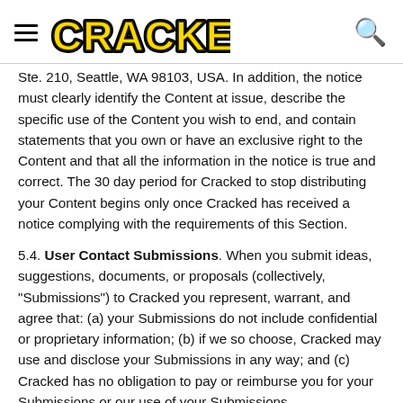CRACKED
Ste. 210, Seattle, WA 98103, USA. In addition, the notice must clearly identify the Content at issue, describe the specific use of the Content you wish to end, and contain statements that you own or have an exclusive right to the Content and that all the information in the notice is true and correct. The 30 day period for Cracked to stop distributing your Content begins only once Cracked has received a notice complying with the requirements of this Section.
5.4. User Contact Submissions. When you submit ideas, suggestions, documents, or proposals (collectively, "Submissions") to Cracked you represent, warrant, and agree that: (a) your Submissions do not include confidential or proprietary information; (b) if we so choose, Cracked may use and disclose your Submissions in any way; and (c) Cracked has no obligation to pay or reimburse you for your Submissions or our use of your Submissions.